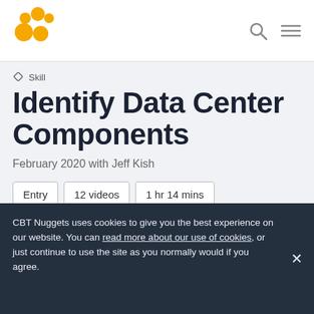CBT Nuggets logo with search and menu icons
Skill
Identify Data Center Components
February 2020 with Jeff Kish
Entry | 12 videos | 1 hr 14 mins
Join Jeff Kish as he covers the components of a data center infrastructure.
CBT Nuggets uses cookies to give you the best experience on our website. You can read more about our use of cookies, or just continue to use the site as you normally would if you agree.